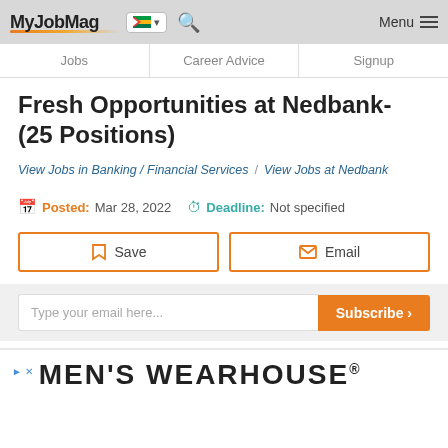MyJobMag — Jobs | Career Advice | Signup
Fresh Opportunities at Nedbank- (25 Positions)
View Jobs in Banking / Financial Services  /  View Jobs at Nedbank
Posted: Mar 28, 2022   Deadline: Not specified
Save   Email
Type your email here...  Subscribe
MEN'S WEARHOUSE®